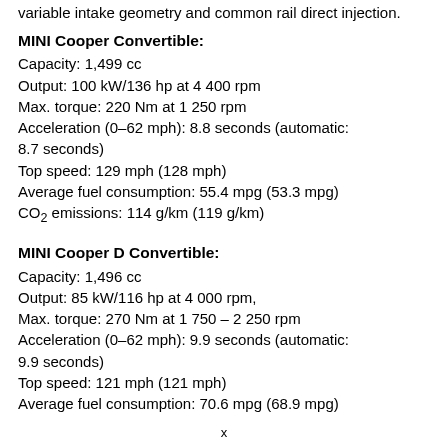variable intake geometry and common rail direct injection.
MINI Cooper Convertible:
Capacity: 1,499 cc
Output: 100 kW/136 hp at 4 400 rpm
Max. torque: 220 Nm at 1 250 rpm
Acceleration (0–62 mph): 8.8 seconds (automatic: 8.7 seconds)
Top speed: 129 mph (128 mph)
Average fuel consumption: 55.4 mpg (53.3 mpg)
CO₂ emissions: 114 g/km (119 g/km)
MINI Cooper D Convertible:
Capacity: 1,496 cc
Output: 85 kW/116 hp at 4 000 rpm,
Max. torque: 270 Nm at 1 750 – 2 250 rpm
Acceleration (0–62 mph): 9.9 seconds (automatic: 9.9 seconds)
Top speed: 121 mph (121 mph)
Average fuel consumption: 70.6 mpg (68.9 mpg)
x